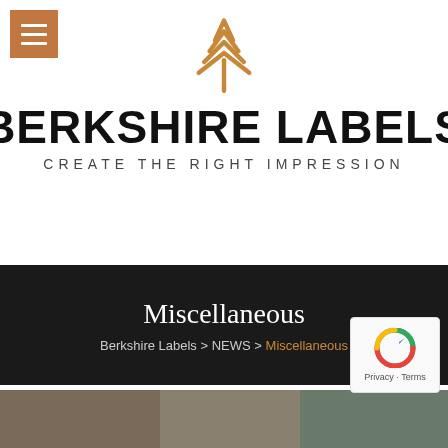[Figure (logo): Berkshire Labels logo: geometric arrow/chevron shape in gold/amber color pointing upward, made of stacked chevron lines]
BERKSHIRE LABELS
CREATE THE RIGHT IMPRESSION
Miscellaneous
Berkshire Labels > NEWS > Miscellaneous
[Figure (photo): Bottom strip showing partial product/label images in dark tones]